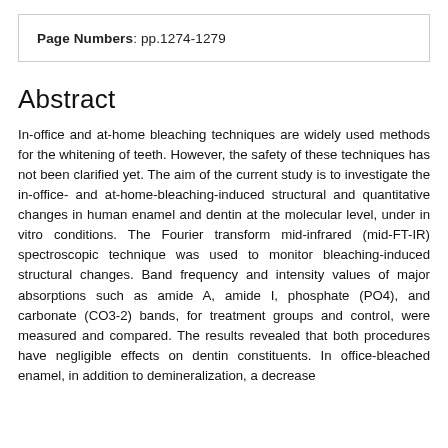Page Numbers: pp.1274-1279
Abstract
In-office and at-home bleaching techniques are widely used methods for the whitening of teeth. However, the safety of these techniques has not been clarified yet. The aim of the current study is to investigate the in-office- and at-home-bleaching-induced structural and quantitative changes in human enamel and dentin at the molecular level, under in vitro conditions. The Fourier transform mid-infrared (mid-FT-IR) spectroscopic technique was used to monitor bleaching-induced structural changes. Band frequency and intensity values of major absorptions such as amide A, amide I, phosphate (PO4), and carbonate (CO3-2) bands, for treatment groups and control, were measured and compared. The results revealed that both procedures have negligible effects on dentin constituents. In office-bleached enamel, in addition to demineralization, a decrease